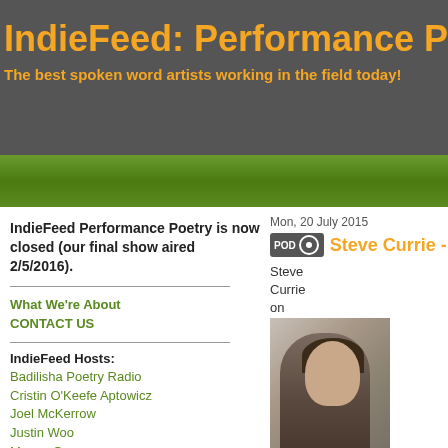IndieFeed: Performance Poetry
The best spoken word artists working in the field today!
IndieFeed Performance Poetry is now closed (our final show aired 2/5/2016).
What We're About
CONTACT US
IndieFeed Hosts:
Badilisha Poetry Radio
Cristin O'Keefe Aptowicz
Joel McKerrow
Justin Woo
Mason Granger
Pete the Temp
Raymond Antrobus
Taylor Mali
Mon, 20 July 2015
Steve Currie - De…
Steve Currie on
[Figure (photo): Photo of Steve Currie, a man with dark hair standing against a wall]